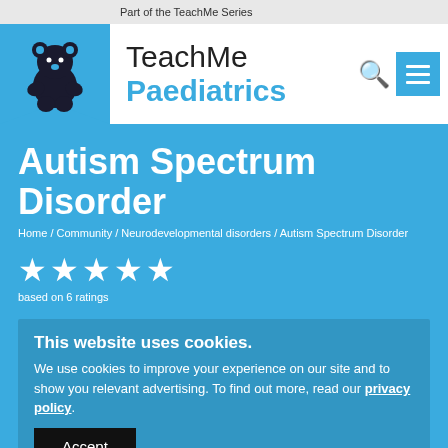Part of the TeachMe Series
[Figure (logo): TeachMe Paediatrics logo with bear icon on blue background]
Autism Spectrum Disorder
Home / Community / Neurodevelopmental disorders / Autism Spectrum Disorder
[Figure (infographic): Five white stars rating]
based on 6 ratings
This website uses cookies.
We use cookies to improve your experience on our site and to show you relevant advertising. To find out more, read our privacy policy.
Accept